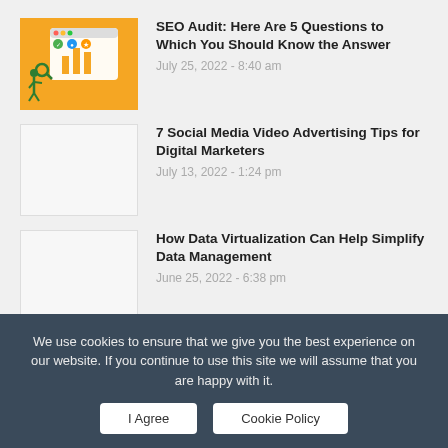[Figure (illustration): Orange background illustration showing a person with magnifying glass examining a browser window with bar chart and icons]
SEO Audit: Here Are 5 Questions to Which You Should Know the Answer
July 25, 2022 - 8:40 am
[Figure (illustration): White/blank thumbnail placeholder]
7 Social Media Video Advertising Tips for Digital Marketers
July 13, 2022 - 1:24 pm
[Figure (illustration): White/blank thumbnail placeholder]
How Data Virtualization Can Help Simplify Data Management
June 25, 2022 - 6:38 pm
We use cookies to ensure that we give you the best experience on our website. If you continue to use this site we will assume that you are happy with it.